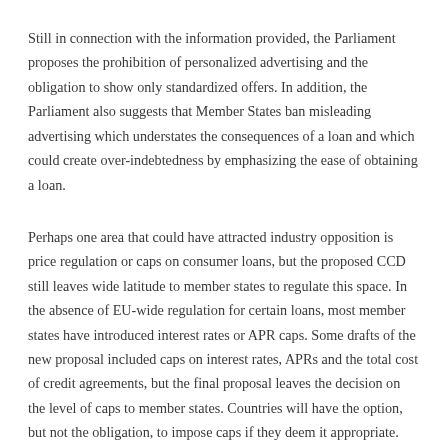Still in connection with the information provided, the Parliament proposes the prohibition of personalized advertising and the obligation to show only standardized offers. In addition, the Parliament also suggests that Member States ban misleading advertising which understates the consequences of a loan and which could create over-indebtedness by emphasizing the ease of obtaining a loan.
Perhaps one area that could have attracted industry opposition is price regulation or caps on consumer loans, but the proposed CCD still leaves wide latitude to member states to regulate this space. In the absence of EU-wide regulation for certain loans, most member states have introduced interest rates or APR caps. Some drafts of the new proposal included caps on interest rates, APRs and the total cost of credit agreements, but the final proposal leaves the decision on the level of caps to member states. Countries will have the option, but not the obligation, to impose caps if they deem it appropriate.